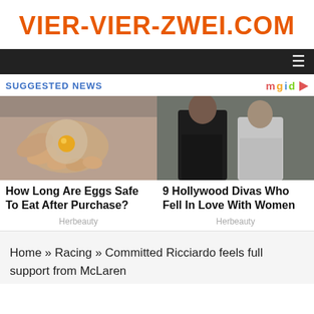VIER-VIER-ZWEI.COM
[Figure (other): Dark navigation bar with hamburger menu icon on the right]
SUGGESTED NEWS
[Figure (photo): A hand holding a translucent egg-like object with a yellow yolk visible inside]
How Long Are Eggs Safe To Eat After Purchase?
Herbeauty
[Figure (photo): Two women posing together, one in black top with arms crossed, one in white sleeveless top]
9 Hollywood Divas Who Fell In Love With Women
Herbeauty
Home » Racing » Committed Ricciardo feels full support from McLaren